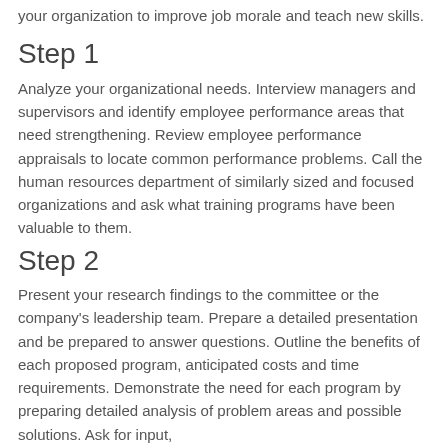your organization to improve job morale and teach new skills.
Step 1
Analyze your organizational needs. Interview managers and supervisors and identify employee performance areas that need strengthening. Review employee performance appraisals to locate common performance problems. Call the human resources department of similarly sized and focused organizations and ask what training programs have been valuable to them.
Step 2
Present your research findings to the committee or the company's leadership team. Prepare a detailed presentation and be prepared to answer questions. Outline the benefits of each proposed program, anticipated costs and time requirements. Demonstrate the need for each program by preparing detailed analysis of problem areas and possible solutions. Ask for input,